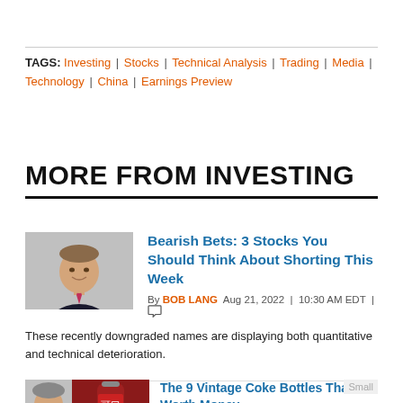TAGS: Investing | Stocks | Technical Analysis | Trading | Media | Technology | China | Earnings Preview
MORE FROM INVESTING
[Figure (photo): Headshot of Bob Lang, a man in a dark suit with a pink tie, against a grey background]
Bearish Bets: 3 Stocks You Should Think About Shorting This Week
By BOB LANG  Aug 21, 2022  |  10:30 AM EDT  |
These recently downgraded names are displaying both quantitative and technical deterioration.
[Figure (photo): Partial view of a person and a vintage Coca-Cola bottle with Chinese characters]
The 9 Vintage Coke Bottles That Are Worth Money